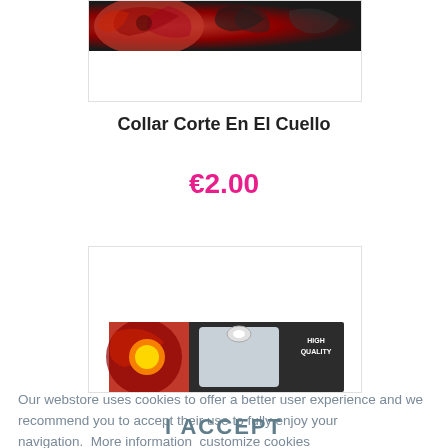[Figure (photo): Top portion of a product image with dark background and red floral pattern, partially cut off at top]
Collar Corte En El Cuello
€2.00
[Figure (photo): Product image showing a collar/choker accessory on packaging with 'HIGH QUALITY' label, bottom portion visible]
Our webstore uses cookies to offer a better user experience and we recommend you to accept their use to fully enjoy your navigation.  More information  customize cookies
I ACCEPT